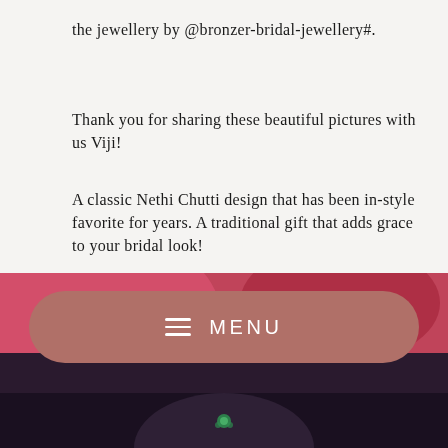the jewellery by @bronzer-bridal-jewellery#.
Thank you for sharing these beautiful pictures with us Viji!
A classic Nethi Chutti design that has been in-style favorite for years. A traditional gift that adds grace to your bridal look!
For more pictures from this beautiful bride's wedding, click here.
Photo credits : Focuz studios
[Figure (photo): Photo of a bride with jewellery, partially visible at bottom of page, with a MENU navigation pill overlay in mauve/dusty rose color]